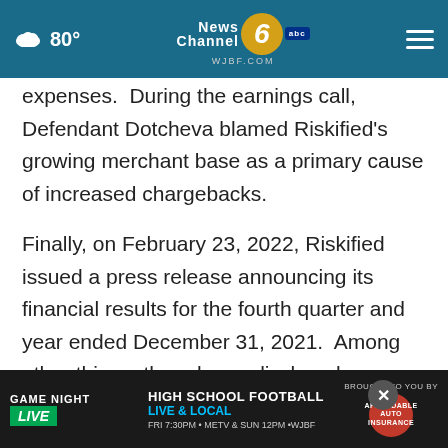80° News Channel 6 abc WJBF.COM
expenses.  During the earnings call, Defendant Dotcheva blamed Riskified's growing merchant base as a primary cause of increased chargebacks.

Finally, on February 23, 2022, Riskified issued a press release announcing its financial results for the fourth quarter and year ended December 31, 2021.  Among other things, the release disclosed that Riskified's revenue growth and Gross Merch...
[Figure (screenshot): Game Night Live advertisement banner for High School Football Live & Local, Fri 7:30PM on METV & Sun 12PM on WJBF, brought to you by Affordable Auto Insurance]